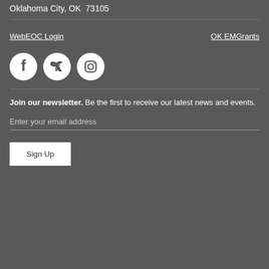Oklahoma City, OK  73105
WebEOC Login
OK EMGrants
[Figure (illustration): Three social media icons: Facebook, Twitter, Instagram — white icons on dark circular backgrounds]
Join our newsletter. Be the first to receive our latest news and events.
Enter your email address
Sign Up